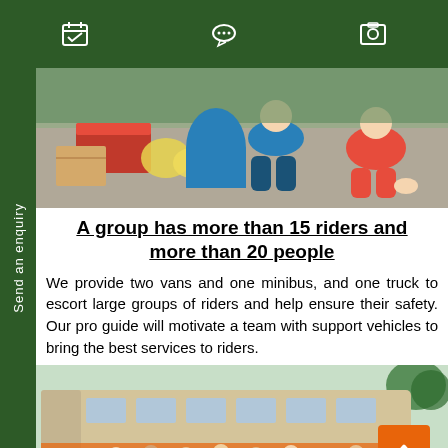[navigation icons: calendar, chat, photo]
[Figure (photo): Overhead view of cyclists sitting on the ground with a red cooler box, cardboard box, and bags of food during a rest stop]
A group has more than 15 riders and more than 20 people
We provide two vans and one minibus, and one truck to escort large groups of riders and help ensure their safety. Our pro guide will motivate a team with support vehicles to bring the best services to riders.
[Figure (photo): Group of cyclists and support staff standing in front of a minibus, posing for a photo]